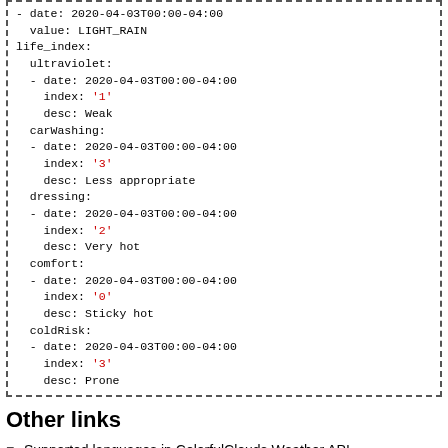- date: 2020-04-03T00:00-04:00
  value: LIGHT_RAIN
life_index:
  ultraviolet:
  - date: 2020-04-03T00:00-04:00
    index: '1'
    desc: Weak
  carWashing:
  - date: 2020-04-03T00:00-04:00
    index: '3'
    desc: Less appropriate
  dressing:
  - date: 2020-04-03T00:00-04:00
    index: '2'
    desc: Very hot
  comfort:
  - date: 2020-04-03T00:00-04:00
    index: '0'
    desc: Sticky hot
  coldRisk:
  - date: 2020-04-03T00:00-04:00
    index: '3'
    desc: Prone
Other links
Supported languages in ColorfulClouds Weather API
Supported measurement systems in ColorfulClouds Weather API
Datetime calculation in ColorfulClouds Weather API